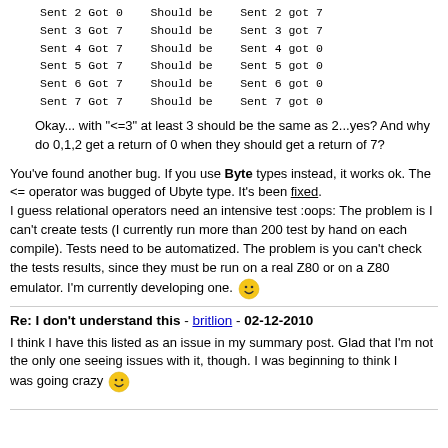Sent 2 Got 0    Should be    Sent 2 got 7
Sent 3 Got 7    Should be    Sent 3 got 7
Sent 4 Got 7    Should be    Sent 4 got 0
Sent 5 Got 7    Should be    Sent 5 got 0
Sent 6 Got 7    Should be    Sent 6 got 0
Sent 7 Got 7    Should be    Sent 7 got 0
Okay... with "<=3" at least 3 should be the same as 2...yes? And why do 0,1,2 get a return of 0 when they should get a return of 7?
You've found another bug. If you use Byte types instead, it works ok. The <= operator was bugged of Ubyte type. It's been fixed. I guess relational operators need an intensive test :oops: The problem is I can't create tests (I currently run more than 200 test by hand on each compile). Tests need to be automatized. The problem is you can't check the tests results, since they must be run on a real Z80 or on a Z80 emulator. I'm currently developing one. [smiley]
Re: I don't understand this - britlion - 02-12-2010
I think I have this listed as an issue in my summary post. Glad that I'm not the only one seeing issues with it, though. I was beginning to think I was going crazy [smiley]